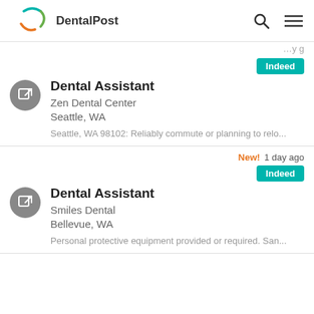DentalPost
…y g…
Indeed
Dental Assistant
Zen Dental Center
Seattle, WA
Seattle, WA 98102: Reliably commute or planning to relo...
New!  1 day ago
Indeed
Dental Assistant
Smiles Dental
Bellevue, WA
Personal protective equipment provided or required. San...